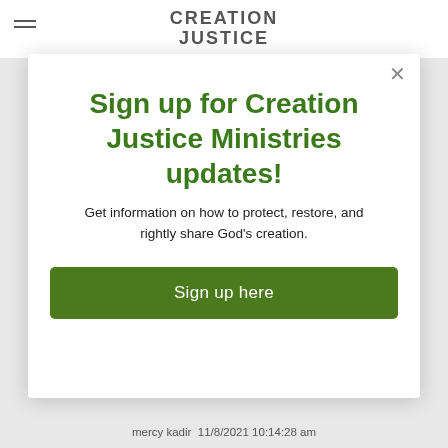CREATION JUSTICE
Sign up for Creation Justice Ministries updates!
Get information on how to protect, restore, and rightly share God's creation.
Sign up here
mercy kadir  11/8/2021 10:14:28 am